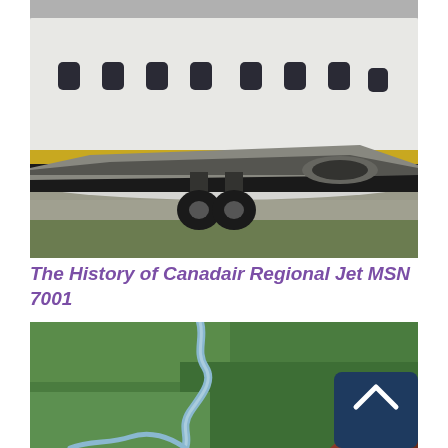[Figure (photo): Close-up photo of the fuselage and undercarriage of a Canadair Regional Jet aircraft on a taxiway. The white fuselage with gold/yellow stripe is visible, along with several small oval windows and dark landing gear wheels beneath the wing root. The background shows a tarmac surface.]
The History of Canadair Regional Jet MSN 7001
[Figure (photo): Aerial photograph looking down at green fields with a winding blue river/stream below. The tip of an aircraft wing or nose is visible in the lower right corner of the image, suggesting this is a view from inside or near the aircraft.]